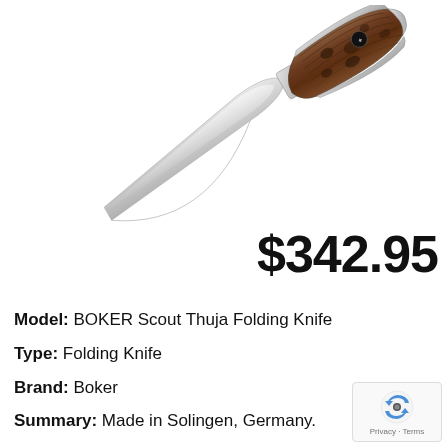[Figure (photo): BOKER Scout Thuja folding knife with silver stainless steel blade and brown burl wood handle with silver bolsters, shown open at an angle on white background]
$342.95
Model:  BOKER Scout Thuja Folding Knife
Type:  Folding Knife
Brand:  Boker
Summary:  Made in Solingen, Germany.